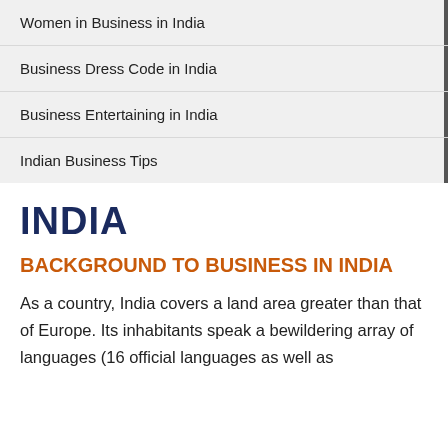Women in Business in India
Business Dress Code in India
Business Entertaining in India
Indian Business Tips
INDIA
BACKGROUND TO BUSINESS IN INDIA
As a country, India covers a land area greater than that of Europe. Its inhabitants speak a bewildering array of languages (16 official languages as well as